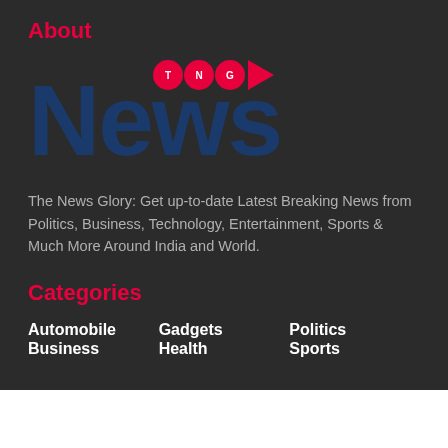About
[Figure (logo): TNG News logo: large dark blue 'News' text with TNG badge (red circles with T, N, G letters and a red play button arrow) above]
The News Glory: Get up-to-date Latest Breaking News from Politics, Business, Technology, Entertainment, Sports & Much More Around India and World.
Categories
Automobile
Gadgets
Politics
Business
Health
Sports